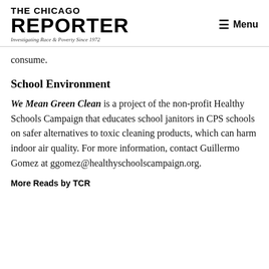THE CHICAGO REPORTER — Investigating Race & Poverty Since 1972 | Menu
consume.
School Environment
We Mean Green Clean is a project of the non-profit Healthy Schools Campaign that educates school janitors in CPS schools on safer alternatives to toxic cleaning products, which can harm indoor air quality. For more information, contact Guillermo Gomez at ggomez@healthyschoolscampaign.org.
More Reads by TCR